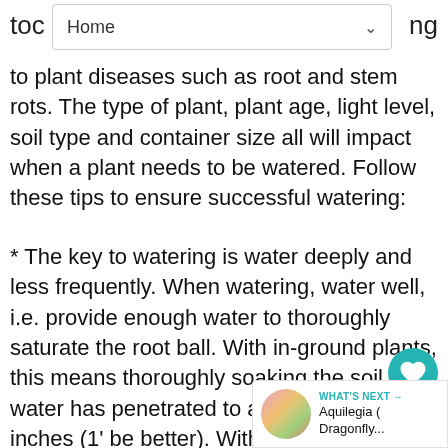toc   Home   ng
to plant diseases such as root and stem rots. The type of plant, plant age, light level, soil type and container size all will impact when a plant needs to be watered. Follow these tips to ensure successful watering:
* The key to watering is water deeply and less frequently. When watering, water well, i.e. provide enough water to thoroughly saturate the root ball. With in-ground plants, this means thoroughly soaking the soil until water has penetrated to a depth of 6 to 7 inches (1' be better). With container grown plants, apply enough water to allow water to flow through the drainage holes.
WHAT'S NEXT → Aquilegia ( Dragonfly...